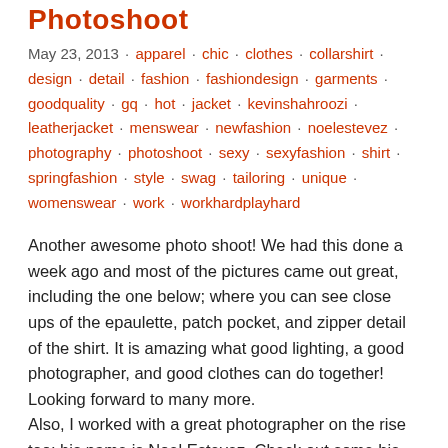Photoshoot
May 23, 2013 · apparel · chic · clothes · collarshirt · design · detail · fashion · fashiondesign · garments · goodquality · gq · hot · jacket · kevinshahroozi · leatherjacket · menswear · newfashion · noelestevez · photography · photoshoot · sexy · sexyfashion · shirt · springfashion · style · swag · tailoring · unique · womenswear · work · workhardplayhard
Another awesome photo shoot! We had this done a week ago and most of the pictures came out great, including the one below; where you can see close ups of the epaulette, patch pocket, and zipper detail of the shirt. It is amazing what good lighting, a good photographer, and good clothes can do together! Looking forward to many more.
Also, I worked with a great photographer on the rise too; his name is Noel Estevez. Check out some his work in the link below on his profile page. Looking forward to more shoots!